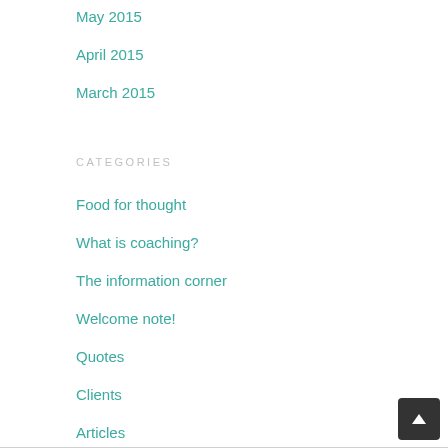May 2015
April 2015
March 2015
CATEGORIES
Food for thought
What is coaching?
The information corner
Welcome note!
Quotes
Clients
Articles